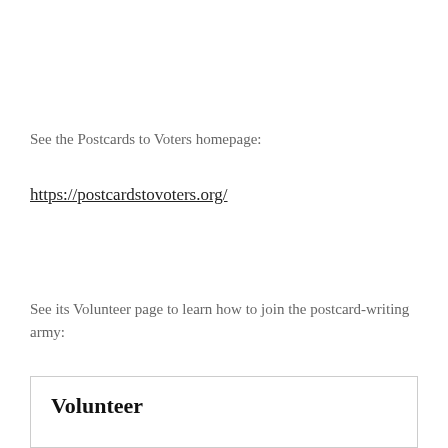See the Postcards to Voters homepage:
https://postcardstovoters.org/
See its Volunteer page to learn how to join the postcard-writing army:
Volunteer